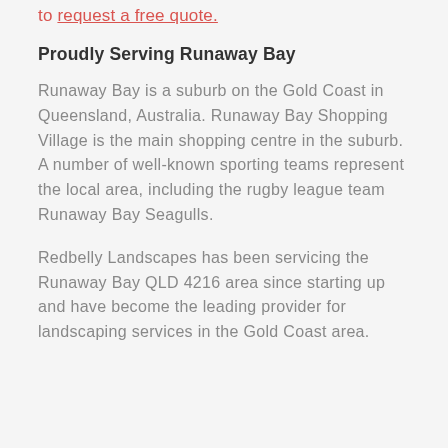to request a free quote.
Proudly Serving Runaway Bay
Runaway Bay is a suburb on the Gold Coast in Queensland, Australia. Runaway Bay Shopping Village is the main shopping centre in the suburb. A number of well-known sporting teams represent the local area, including the rugby league team Runaway Bay Seagulls.
Redbelly Landscapes has been servicing the Runaway Bay QLD 4216 area since starting up and have become the leading provider for landscaping services in the Gold Coast area.